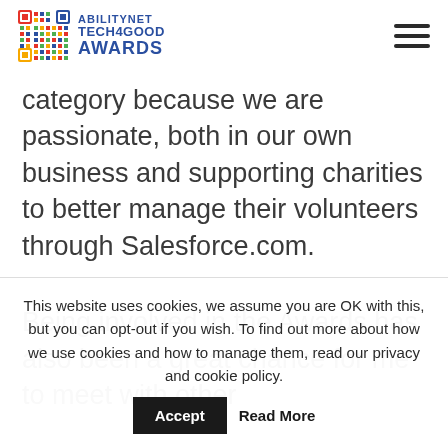AbilityNet Tech4Good Awards
category because we are passionate, both in our own business and supporting charities to better manage their volunteers through Salesforce.com.
Being involved in the Awards has also been a great chance for me to meet with other
This website uses cookies, we assume you are OK with this, but you can opt-out if you wish. To find out more about how we use cookies and how to manage them, read our privacy and cookie policy.